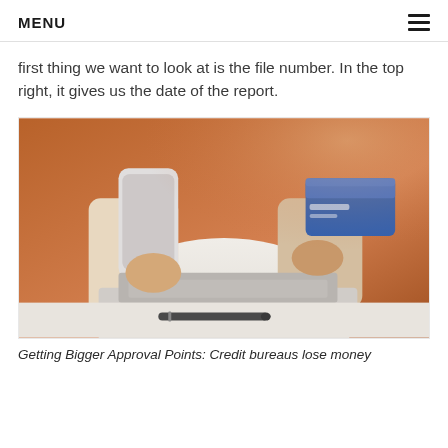MENU
first thing we want to look at is the file number. In the top right, it gives us the date of the report.
[Figure (photo): Person holding a smartphone in one hand and a blue credit card in the other, with a laptop open on a desk and a pen in the foreground.]
Getting Bigger Approval Points: Credit bureaus lose money